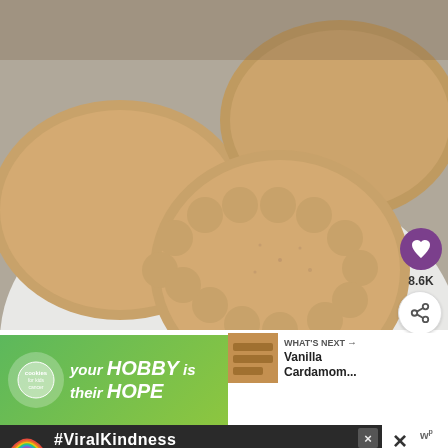[Figure (photo): Close-up photo of scallop-edged shortbread cookies on a white plate, with a light gray background. The cookies are golden-brown with a slightly textured surface.]
8.6K
WHAT'S NEXT → Vanilla Cardamom...
[Figure (photo): Advertisement banner: green background with 'your HOBBY is their HOPE' text and a cookie for kids cancer logo]
[Figure (photo): Advertisement banner: dark background with a rainbow illustration and '#ViralKindness' text]